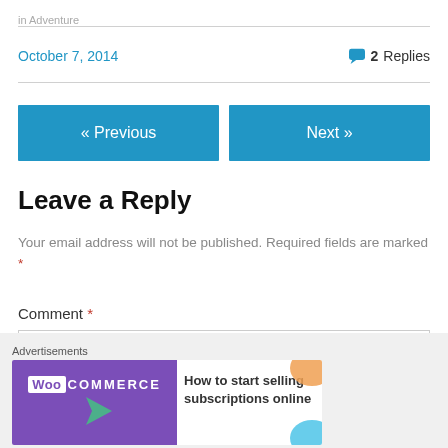in Adventure
October 7, 2014
2 Replies
« Previous
Next »
Leave a Reply
Your email address will not be published. Required fields are marked *
Comment *
Advertisements
[Figure (infographic): WooCommerce advertisement banner: 'How to start selling subscriptions online']